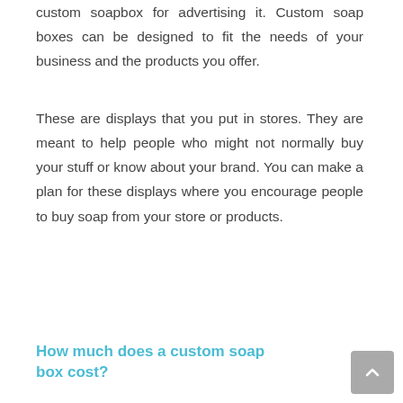custom soapbox for advertising it. Custom soap boxes can be designed to fit the needs of your business and the products you offer.
These are displays that you put in stores. They are meant to help people who might not normally buy your stuff or know about your brand. You can make a plan for these displays where you encourage people to buy soap from your store or products.
How much does a custom soap box cost?